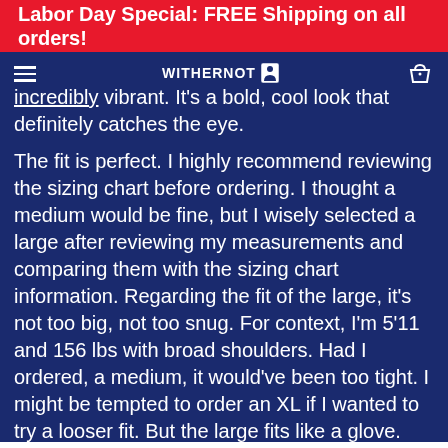Labor Day Special: FREE Shipping on all orders!
incredibly vibrant. It's a bold, cool look that definitely catches the eye.
The fit is perfect. I highly recommend reviewing the sizing chart before ordering. I thought a medium would be fine, but I wisely selected a large after reviewing my measurements and comparing them with the sizing chart information. Regarding the fit of the large, it's not too big, not too snug. For context, I'm 5'11 and 156 lbs with broad shoulders. Had I ordered, a medium, it would've been too tight. I might be tempted to order an XL if I wanted to try a looser fit. But the large fits like a glove.